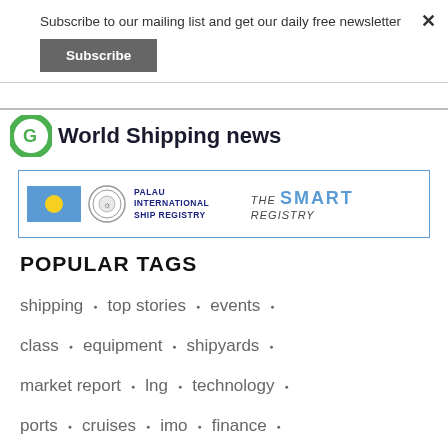Subscribe to our mailing list and get our daily free newsletter
Subscribe
[Figure (logo): World Shipping News logo with green circular icon and bold title text]
[Figure (other): Palau International Ship Registry advertisement banner with Palau flag, seal, and 'The SMART Registry' tagline]
POPULAR TAGS
shipping • top stories • events •
class • equipment • shipyards •
market report • lng • technology •
ports • cruises • imo • finance •
awards • emissions • abs •